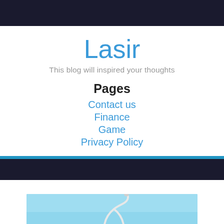Lasir
This blog will inspired your thoughts
Pages
Contact us
Finance
Game
Privacy Policy
[Figure (photo): A stethoscope on a light blue background, partially visible at the bottom of the page.]